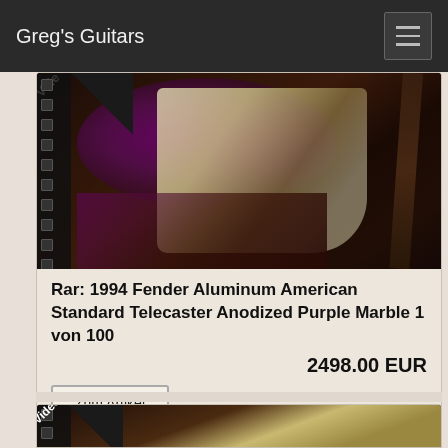Greg's Guitars
[Figure (photo): Photo of a 1994 Fender Aluminum American Standard Telecaster Anodized Purple Marble guitar with video badge overlay]
Rar: 1994 Fender Aluminum American Standard Telecaster Anodized Purple Marble 1 von 100
2498.00 EUR
Zum Artikel
[Figure (photo): Partial photo of a guitar with video badge overlay — second product card, partially visible]